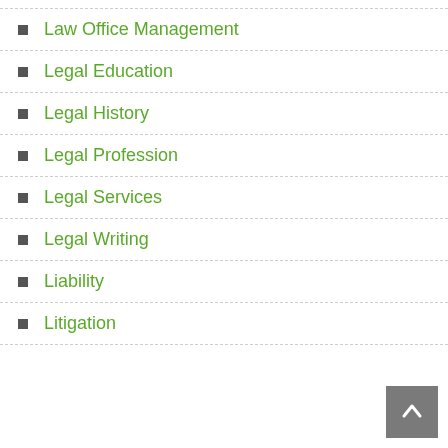Law Office Management
Legal Education
Legal History
Legal Profession
Legal Services
Legal Writing
Liability
Litigation